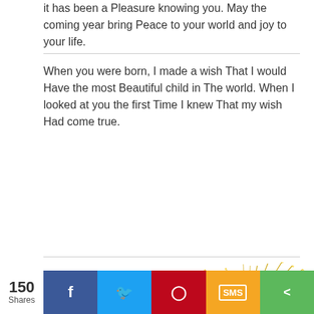it has been a Pleasure knowing you. May the coming year bring Peace to your world and joy to your life.
When you were born, I made a wish That I would Have the most Beautiful child in The world. When I looked at you the first Time I knew That my wish Had come true.
[Figure (illustration): Cartoon illustration of a baby/character wearing a black top hat with red brim, holding a sparkler/firework against a dark red circular background with golden firework sparks bursting outward and glitter effects]
150 Shares | Facebook | Twitter | Pinterest | SMS | Share